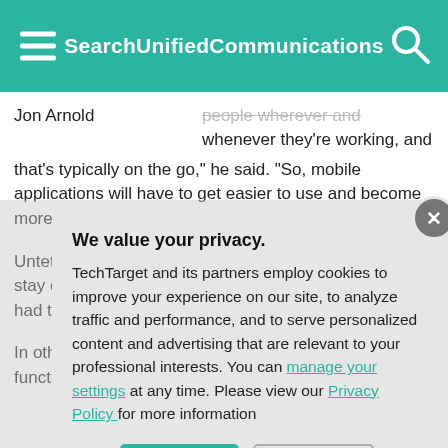SearchUnifiedCommunications
Jon Arnold

people wherever and whenever they're working, and that's typically on the go," he said. "So, mobile applications will have to get easier to use and become more integral to the collaboration experience."
Untethering UC locations also re according to Nu Cresa stay ope major storm-rela Texas. "Our offic though we had t
In other notewor the convergence messaging, pers functionality with
We value your privacy.

TechTarget and its partners employ cookies to improve your experience on our site, to analyze traffic and performance, and to serve personalized content and advertising that are relevant to your professional interests. You can manage your settings at any time. Please view our Privacy Policy for more information